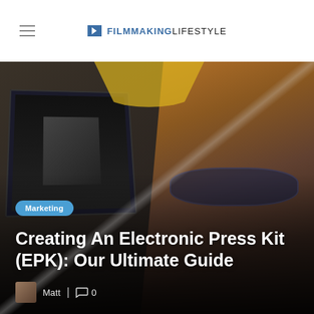FILMMAKING LIFESTYLE
[Figure (photo): Split hero image showing a person working on a laptop on the left side and a close-up of a man wearing blue round sunglasses and a yellow cap on the right side]
Marketing
Creating An Electronic Press Kit (EPK): Our Ultimate Guide
Matt | 0